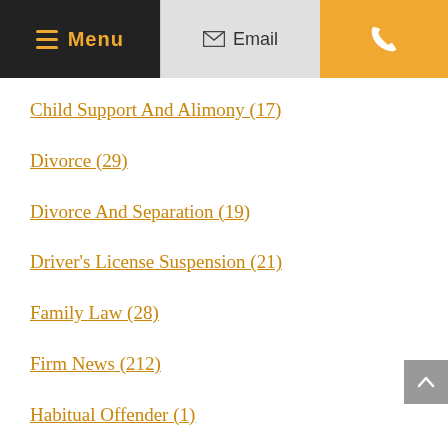[Figure (screenshot): Navigation header bar with Menu (dark background, gold text), Email (light grey background), and phone icon (gold/orange background)]
Child Support And Alimony (17)
Divorce (29)
Divorce And Separation (19)
Driver's License Suspension (21)
Family Law (28)
Firm News (212)
Habitual Offender (1)
Military Family Law (6)